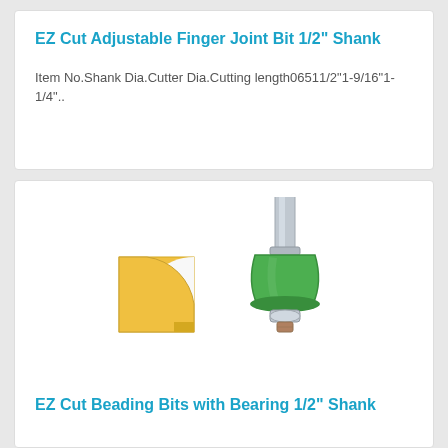EZ Cut Adjustable Finger Joint Bit 1/2" Shank
Item No.Shank Dia.Cutter Dia.Cutting length06511/2"1-9/16"1-1/4"..
[Figure (photo): Router bit with green cutter head and silver shank, shown alongside a yellow profile diagram of the cut shape (beading profile with curved edge). Green bit has bearing at bottom.]
EZ Cut Beading Bits with Bearing 1/2" Shank